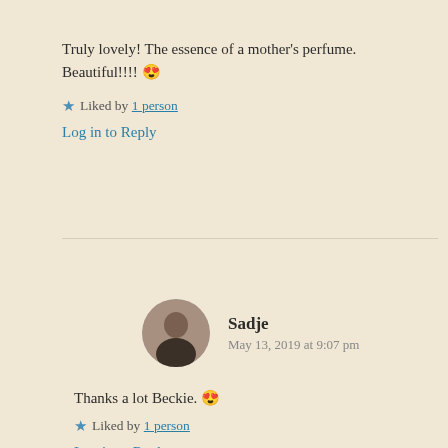Truly lovely! The essence of a mother's perfume. Beautiful!!!! 😍
⭐ Liked by 1 person
Log in to Reply
Sadje · May 13, 2019 at 9:07 pm
Thanks a lot Beckie. 😍
⭐ Liked by 1 person
Log in to Reply